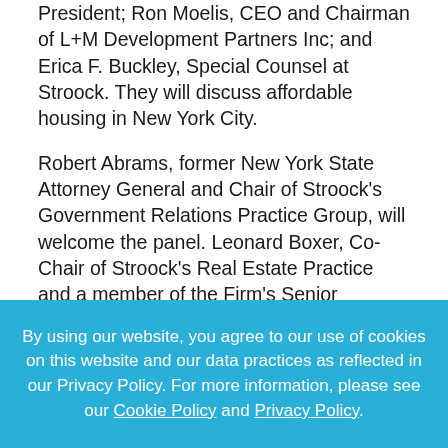President; Ron Moelis, CEO and Chairman of L+M Development Partners Inc; and Erica F. Buckley, Special Counsel at Stroock. They will discuss affordable housing in New York City.
Robert Abrams, former New York State Attorney General and Chair of Stroock's Government Relations Practice Group, will welcome the panel. Leonard Boxer, Co-Chair of Stroock's Real Estate Practice and a member of the Firm's Senior Executive Committee, and Charles Moerdler, Co-Chair of Stroock's Litigation Practice Group and a
By using our website, you agree to our use of cookies on this website and our data practices as reflected in our Privacy Policy. For more information, please see our Cookie Policy and Privacy Policy.